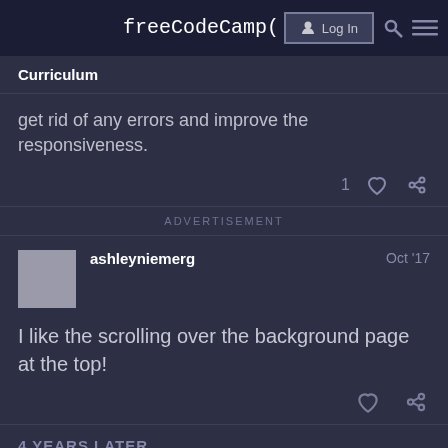freeCodeCamp(🔥)
Curriculum
get rid of any errors and improve the responsiveness.
1 ♡ 🔗
ADVERTISEMENT
ashleyniemerg   Oct '17
I like the scrolling over the background page at the top!
4 YEARS LATER
CLOSED ON JUN 4, '21
2/5